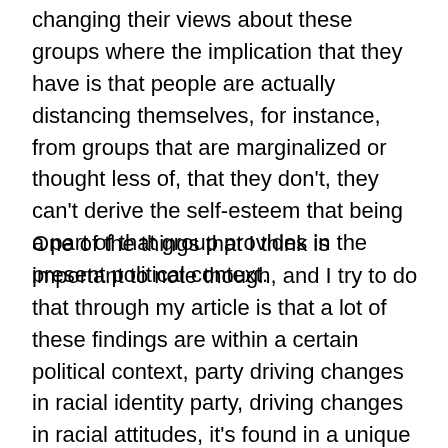changing their views about these groups where the implication that they have is that people are actually distancing themselves, for instance, from groups that are marginalized or thought less of, that they don't, they can't derive the self-esteem that being a part of that group provides in the present political context.
One of the things that I think is important to note though, and I try to do that through my article is that a lot of these findings are within a certain political context, party driving changes in racial identity party, driving changes in racial attitudes, it's found in a unique political context. It's not a law of politics. We're just in an environment where there's a wealth of information about racial and ethnic groups, people are attached to their parties, and the